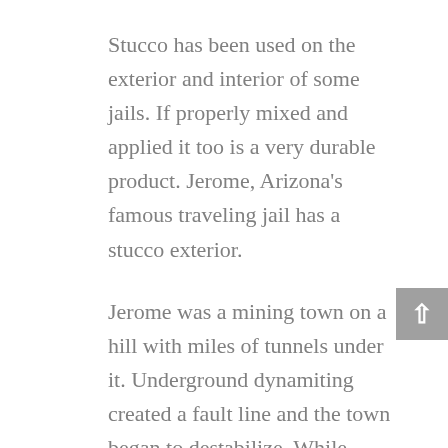Stucco has been used on the exterior and interior of some jails. If properly mixed and applied it too is a very durable product. Jerome, Arizona's famous traveling jail has a stucco exterior.
Jerome was a mining town on a hill with miles of tunnels under it. Underground dynamiting created a fault line and the town began to destabilize. While many of the streets and buildings began to sink and fall apart the jail started traveling downhill.
At first, a path was built to the door. Then the jail moved further and was deemed unsafe and abandoned. It ended up in the middle of